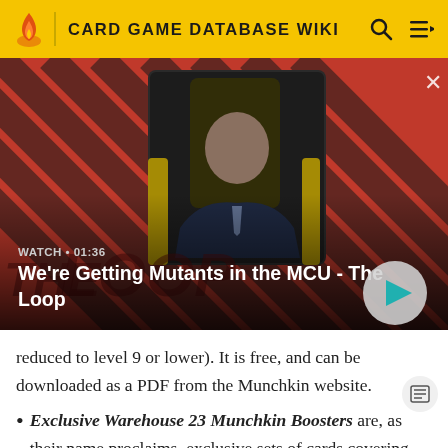CARD GAME DATABASE WIKI
[Figure (screenshot): Video thumbnail showing a bald man in a suit seated in a chair, with a red and dark diagonal stripe background. Overlay text reads WATCH • 01:36 and We're Getting Mutants in the MCU - The Loop. A play button is visible in the bottom right.]
reduced to level 9 or lower). It is free, and can be downloaded as a PDF from the Munchkin website.
Exclusive Warehouse 23 Munchkin Boosters are, as their name proclaims, exclusive sets of cards covering most of the Munchkin versions; available